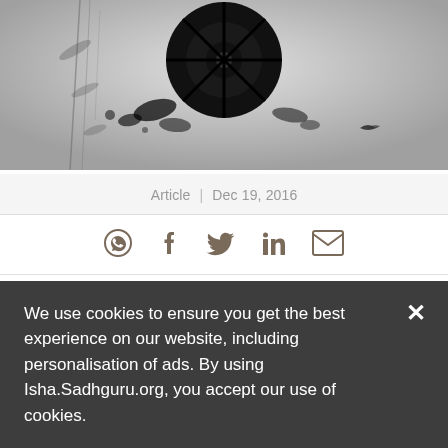[Figure (illustration): Black and white artistic illustration showing a dark circular mandala/wheel shape with ink splatter and bird silhouettes against a grey textured background]
Article | Dec 19, 2016
[Figure (other): Social media sharing icons: WhatsApp, Facebook, Twitter, LinkedIn, Email]
Q: Gautama Buddha said the Wheel of Dharma will turn full cycle in two thousand five hundred years. We
We use cookies to ensure you get the best experience on our website, including personalisation of ads. By using Isha.Sadhguru.org, you accept our use of cookies.